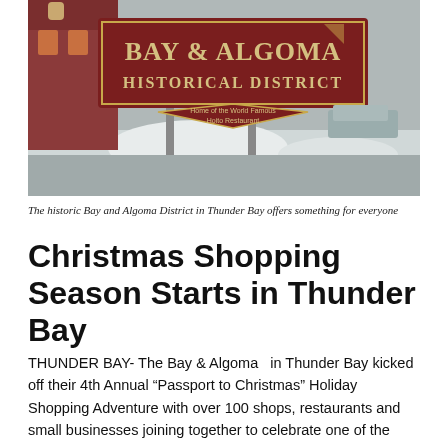[Figure (photo): Photo of the Bay & Algoma Historical District sign in Thunder Bay, with snow on the ground and a red brick building in the background. The sign reads 'BAY & ALGOMA HISTORICAL DISTRICT' and below it a smaller sign reads 'Home of the World Famous Hoito Restaurant'.]
The historic Bay and Algoma District in Thunder Bay offers something for everyone
Christmas Shopping Season Starts in Thunder Bay
THUNDER BAY- The Bay & Algoma  in Thunder Bay kicked off their 4th Annual “Passport to Christmas” Holiday Shopping Adventure with over 100 shops, restaurants and small businesses joining together to celebrate one of the